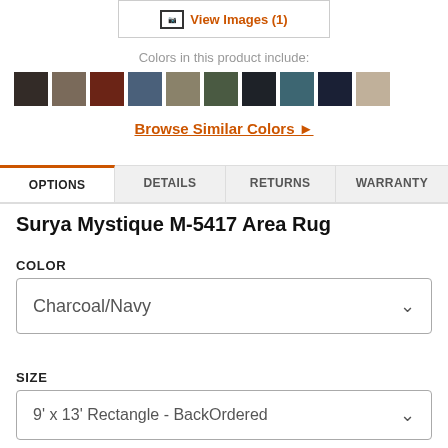[Figure (screenshot): View Images (1) link with image icon inside a bordered box]
Colors in this product include:
[Figure (illustration): Row of 10 color swatches: dark brown, warm gray-brown, dark red-brown, slate blue, khaki-tan, dark olive, near-black, steel teal, dark navy, light beige]
Browse Similar Colors ▸
OPTIONS | DETAILS | RETURNS | WARRANTY
Surya Mystique M-5417 Area Rug
COLOR
Charcoal/Navy
SIZE
9' x 13' Rectangle - BackOrdered